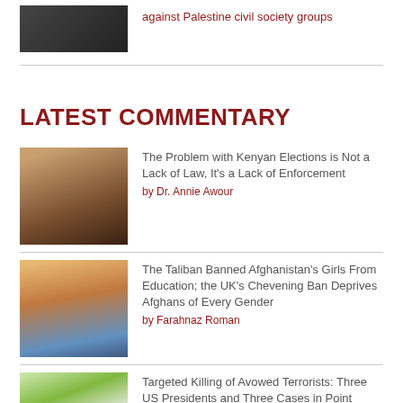[Figure (photo): Small thumbnail image, dark military/conflict scene]
against Palestine civil society groups
LATEST COMMENTARY
[Figure (photo): Thumbnail showing people, Kenyan election scene]
The Problem with Kenyan Elections is Not a Lack of Law, It's a Lack of Enforcement
by Dr. Annie Awour
[Figure (photo): Thumbnail showing London cityscape at dusk]
The Taliban Banned Afghanistan's Girls From Education; the UK's Chevening Ban Deprives Afghans of Every Gender
by Farahnaz Roman
[Figure (photo): Thumbnail showing White House]
Targeted Killing of Avowed Terrorists: Three US Presidents and Three Cases in Point
by Leonard Cutler